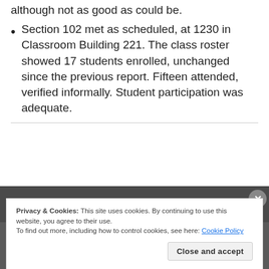although not as good as could be.
Section 102 met as scheduled, at 1230 in Classroom Building 221. The class roster showed 17 students enrolled, unchanged since the previous report. Fifteen attended, verified informally. Student participation was adequate.
Privacy & Cookies: This site uses cookies. By continuing to use this website, you agree to their use.
To find out more, including how to control cookies, see here: Cookie Policy
Close and accept